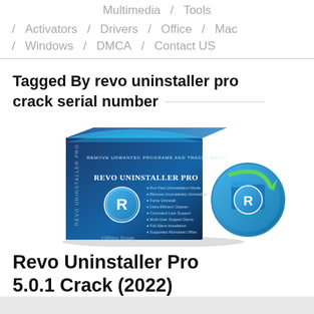Multimedia / Tools
/ Activators / Drivers / Office / Mac
/ Windows / DMCA / Contact US
Tagged By revo uninstaller pro crack serial number
[Figure (photo): Revo Uninstaller Pro software box and icon illustration]
Revo Uninstaller Pro 5.0.1 Crack (2022)